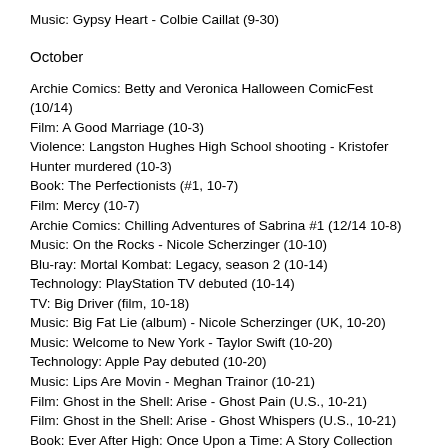Music: Gypsy Heart - Colbie Caillat (9-30)
October
Archie Comics: Betty and Veronica Halloween ComicFest (10/14)
Film: A Good Marriage (10-3)
Violence: Langston Hughes High School shooting - Kristofer Hunter murdered (10-3)
Book: The Perfectionists (#1, 10-7)
Film: Mercy (10-7)
Archie Comics: Chilling Adventures of Sabrina #1 (12/14 10-8)
Music: On the Rocks - Nicole Scherzinger (10-10)
Blu-ray: Mortal Kombat: Legacy, season 2 (10-14)
Technology: PlayStation TV debuted (10-14)
TV: Big Driver (film, 10-18)
Music: Big Fat Lie (album) - Nicole Scherzinger (UK, 10-20)
Music: Welcome to New York - Taylor Swift (10-20)
Technology: Apple Pay debuted (10-20)
Music: Lips Are Movin - Meghan Trainor (10-21)
Film: Ghost in the Shell: Arise - Ghost Pain (U.S., 10-21)
Film: Ghost in the Shell: Arise - Ghost Whispers (U.S., 10-21)
Book: Ever After High: Once Upon a Time: A Story Collection (10-21)
Violence: Marysville Pilchuck High School shooting - Zoë Raine